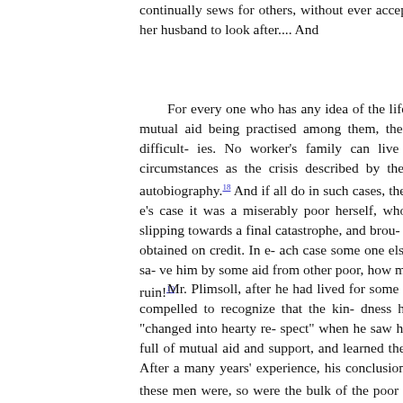continually sews for others, without ever accepting any re- herself five children and her husband to look after.... And
For every one who has any idea of the life of the poor it is evident that without mutual aid being practised among them, they never could pull through all their difficulties. No worker's family can live its lifetime without having such circumstances as the crisis described by the ribbon-weaver Gutteridge, in his autobiography.18 And if all do in such cases, they owe it to mutual help. In Gutteridge's case it was a miserably poor herself, who turned up at the moment he was slipping towards a final catastrophe, and brought him some bedding, which she had obtained on credit. In each case some one else, or the neighbours will take steps to save him by some aid from other poor, how many more would fall into irreparable ruin!19
Mr. Plimsoll, after he had lived for some time on eighteen pence a week, was compelled to recognize that the kindness he met with when he began this life "changed into hearty respect" when he saw how the relations between the poor are full of mutual aid and support, and learned the simple ways in which this is done. After a many years' experience, his conclusion was: "When you think of it, such as these men were, so were the bulk of the poor classes."20 As to bringing up orphans, even by t